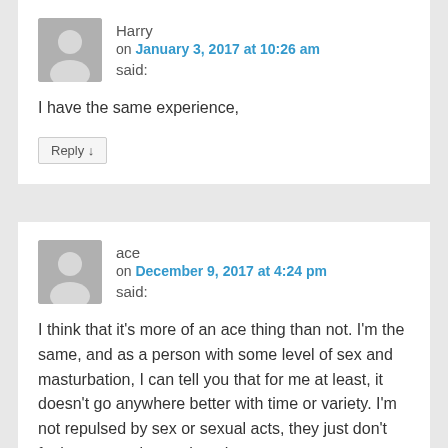Harry
on January 3, 2017 at 10:26 am
said:
I have the same experience,
Reply ↓
ace
on December 9, 2017 at 4:24 pm
said:
I think that it's more of an ace thing than not. I'm the same, and as a person with some level of sex and masturbation, I can tell you that for me at least, it doesn't go anywhere better with time or variety. I'm not repulsed by sex or sexual acts, they just don't feel any more better than the